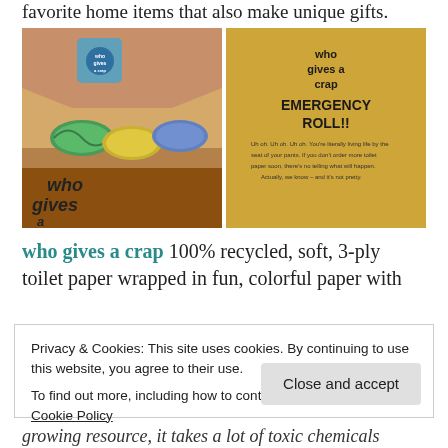favorite home items that also make unique gifts.
[Figure (photo): Two photos side by side: left photo shows a 'who gives a crap' branded box open with colorful wrapped toilet paper rolls inside; right photo shows a gold 'who gives a crap' toilet paper roll labeled 'EMERGENCY ROLL!!' with humorous text.]
who gives a crap 100% recycled, soft, 3-ply toilet paper wrapped in fun, colorful paper with
Privacy & Cookies: This site uses cookies. By continuing to use this website, you agree to their use.
To find out more, including how to control cookies, see here: Cookie Policy
Close and accept
growing resource, it takes a lot of toxic chemicals